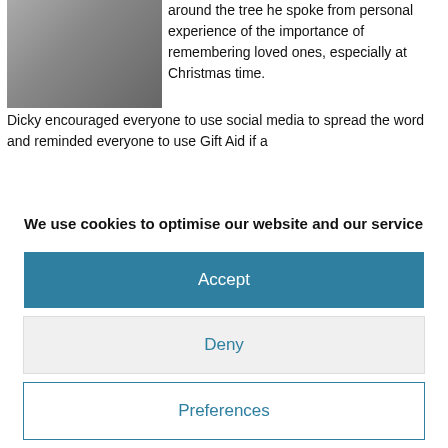[Figure (photo): Photo of a man in a grey suit with a checked shirt, holding a microphone cable]
around the tree he spoke from personal experience of the importance of remembering loved ones, especially at Christmas time.  Dicky encouraged everyone to use social media to spread the word and reminded everyone to use Gift Aid if a
We use cookies to optimise our website and our service
Accept
Deny
Preferences
Cookie Policy   Privacy Policy